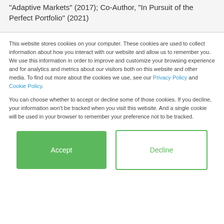"Adaptive Markets" (2017); Co-Author, "In Pursuit of the Perfect Portfolio" (2021)
This website stores cookies on your computer. These cookies are used to collect information about how you interact with our website and allow us to remember you. We use this information in order to improve and customize your browsing experience and for analytics and metrics about our visitors both on this website and other media. To find out more about the cookies we use, see our Privacy Policy and Cookie Policy.
You can choose whether to accept or decline some of those cookies. If you decline, your information won't be tracked when you visit this website. And a single cookie will be used in your browser to remember your preference not to be tracked.